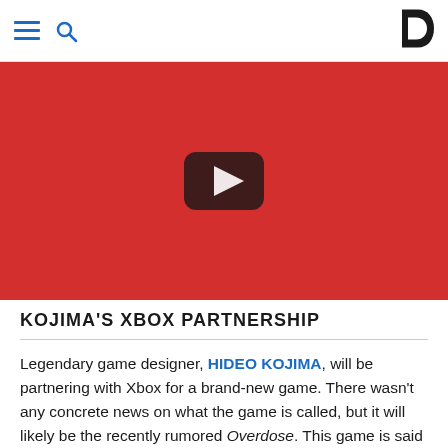Navigation header with hamburger menu, search icon, and D logo
[Figure (screenshot): YouTube-style video embed placeholder with red background and play button icon]
KOJIMA'S XBOX PARTNERSHIP
Legendary game designer, HIDEO KOJIMA, will be partnering with Xbox for a brand-new game. There wasn't any concrete news on what the game is called, but it will likely be the recently rumored Overdose. This game is said to star MARGARET